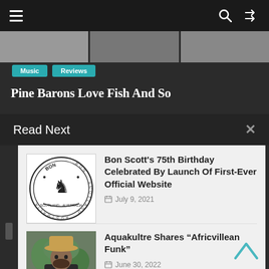≡  🔍  ⇄
Music  Reviews
Pine Barons Love Fish And So
Read Next  ✕
[Figure (logo): Bon Scott circular seal logo with lion, text: BON · SCOTLAND · AUSTRALIA]
Bon Scott's 75th Birthday Celebrated By Launch Of First-Ever Official Website
July 9, 2021
[Figure (photo): Man wearing a cowboy hat and dark suit outdoors]
Aquakultre Shares “Africvillean Funk”
June 30, 2022